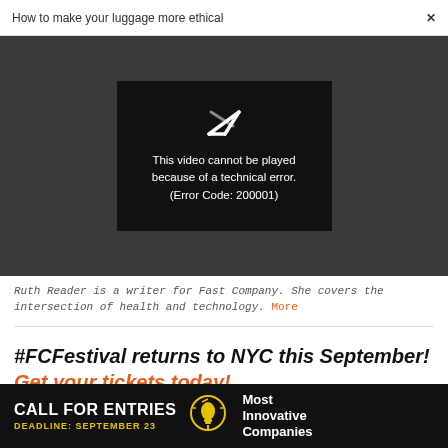How to make your luggage more ethical  ×
[Figure (screenshot): Video player error screen on dark grey background. A black rectangle in the center contains a broken play button icon and text: 'This video cannot be played because of a technical error. (Error Code: 200001)']
Ruth Reader is a writer for Fast Company. She covers the intersection of health and technology. More
#FCFestival returns to NYC this September! Get your tickets today!
[Figure (infographic): Black advertisement banner: CALL FOR ENTRIES / DEADLINE: SEPTEMBER 23 / lightbulb icon / Most Innovative Companies]